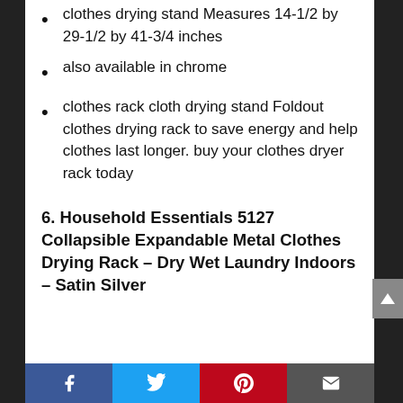clothes drying stand Measures 14-1/2 by 29-1/2 by 41-3/4 inches
also available in chrome
clothes rack cloth drying stand Foldout clothes drying rack to save energy and help clothes last longer. buy your clothes dryer rack today
6. Household Essentials 5127 Collapsible Expandable Metal Clothes Drying Rack – Dry Wet Laundry Indoors – Satin Silver